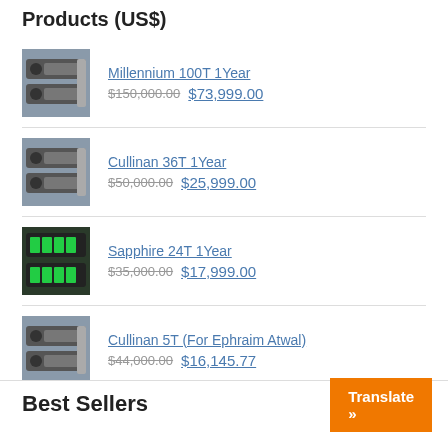Products (US$)
Millennium 100T 1Year  $150,000.00  $73,999.00
Cullinan 36T 1Year  $50,000.00  $25,999.00
Sapphire 24T 1Year  $35,000.00  $17,999.00
Cullinan 5T (For Ephraim Atwal)  $44,000.00  $16,145.77
Best Sellers
Translate »